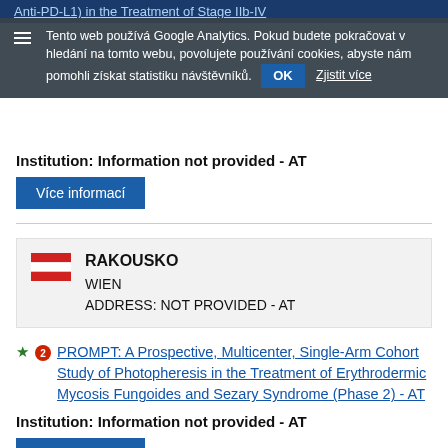Anti-PD-L1) in the Treatment of Stage IIb-IV
Tento web používá Google Analytics. Pokud budete pokračovat v hledání na tomto webu, povolujete používání cookies, abyste nám pomohli získat statistiku návštěvníků. OK Zjistit více
Institution: Information not provided - AT
Více informací
[Figure (other): Austrian flag with country name RAKOUSKO, city WIEN, and ADDRESS: NOT PROVIDED - AT]
PROMPT: A Prospective, Multicenter, Single-Arm Cohort Study of Photopheresis in the Treatment of Erythrodermic Mycosis Fungoides and Sezary Syndrome (Phase 2) - AT
Institution: Information not provided - AT
Více informací